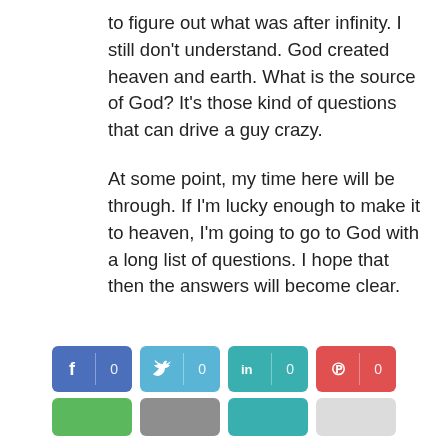to figure out what was after infinity. I still don't understand. God created heaven and earth. What is the source of God? It's those kind of questions that can drive a guy crazy.
At some point, my time here will be through. If I'm lucky enough to make it to heaven, I'm going to go to God with a long list of questions. I hope that then the answers will become clear.